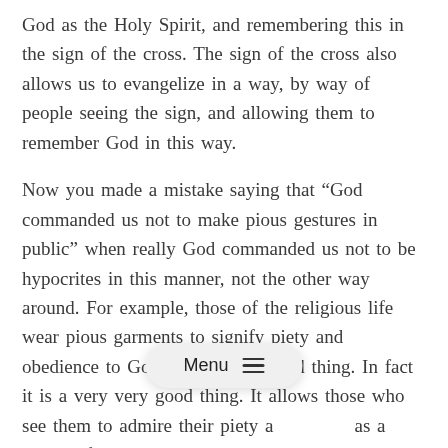God as the Holy Spirit, and remembering this in the sign of the cross. The sign of the cross also allows us to evangelize in a way, by way of people seeing the sign, and allowing them to remember God in this way.
Now you made a mistake saying that “God commanded us not to make pious gestures in public” when really God commanded us not to be hypocrites in this manner, not the other way around. For example, those of the religious life wear pious garments to signify piety and obedience to God. This is not a bad thing. In fact it is a very very good thing. It allows those who see them to admire their piety and use them as a model of what they should do, in a way making the sign of the cross cam be a tool for this as well,